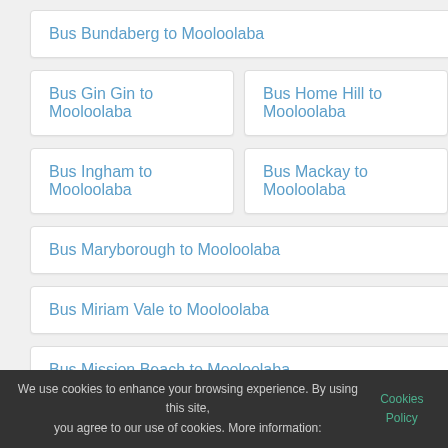Bus Bundaberg to Mooloolaba
Bus Gin Gin to Mooloolaba
Bus Home Hill to Mooloolaba
Bus Ingham to Mooloolaba
Bus Mackay to Mooloolaba
Bus Maryborough to Mooloolaba
Bus Miriam Vale to Mooloolaba
Bus Mission Beach to Mooloolaba
Bus Noosa Heads to Mooloolaba
We use cookies to enhance your browsing experience. By using this site, you agree to our use of cookies. More information: Cookies Policy